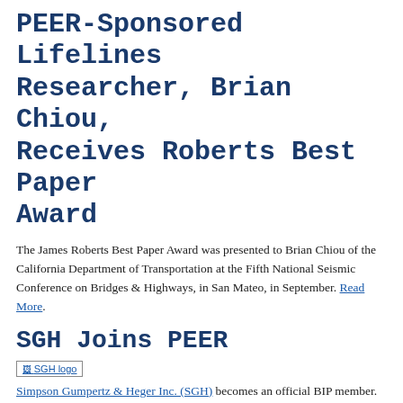PEER-Sponsored Lifelines Researcher, Brian Chiou, Receives Roberts Best Paper Award
The James Roberts Best Paper Award was presented to Brian Chiou of the California Department of Transportation at the Fifth National Seismic Conference on Bridges & Highways, in San Mateo, in September. Read More.
SGH Joins PEER
[Figure (logo): SGH logo image placeholder]
Simpson Gumpertz & Heger Inc. (SGH) becomes an official BIP member.
Scenes from PEER's Open